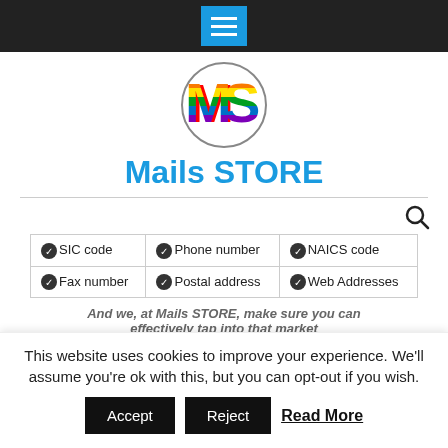Navigation bar with hamburger menu button
[Figure (logo): MS logo circle with colorful rainbow letters M and S]
Mails STORE
| ✓SIC code | ✓Phone number | ✓NAICS code |
| ✓Fax number | ✓Postal address | ✓Web Addresses |
And we, at Mails STORE, make sure you can effectively tap into that market
This website uses cookies to improve your experience. We'll assume you're ok with this, but you can opt-out if you wish.
Accept   Reject   Read More